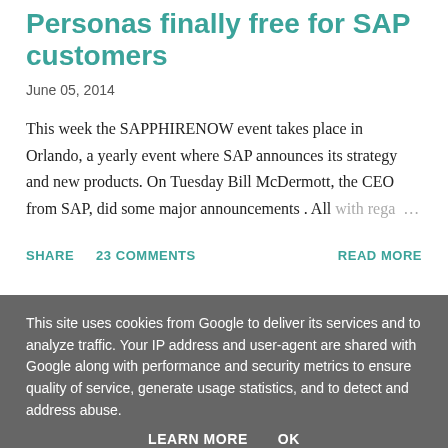Personas finally free for SAP customers
June 05, 2014
This week the SAPPHIRENOW event takes place in Orlando, a yearly event where SAP announces its strategy and new products. On Tuesday Bill McDermott, the CEO from SAP, did some major announcements . All with rega …
SHARE   23 COMMENTS   READ MORE
This site uses cookies from Google to deliver its services and to analyze traffic. Your IP address and user-agent are shared with Google along with performance and security metrics to ensure quality of service, generate usage statistics, and to detect and address abuse.
LEARN MORE   OK